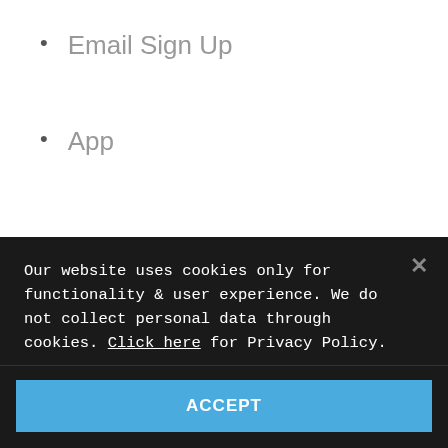Email Sign Up
App
Our website uses cookies only for functionality & user experience. We do not collect personal data through cookies. Click here for Privacy Policy.
ACCEPT